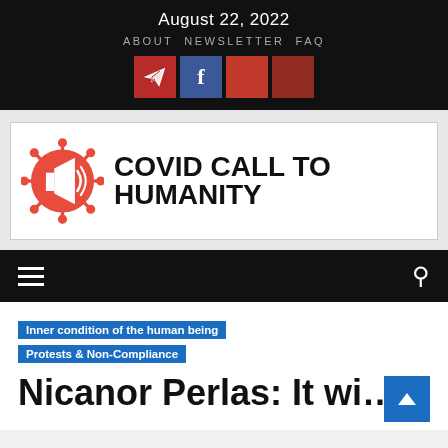August 22, 2022
ABOUT   NEWSLETTER   FAQ
[Figure (logo): Social media icons: Telegram (red), Facebook (blue), two red squares]
[Figure (logo): Covid Call to Humanity logo with red virus/megaphone icon and bold text COVID CALL TO HUMANITY]
Navigation bar with hamburger menu and search icon
Inner condition of the human being
Protests & Non-Compliance
Nicanor Perlas: It wi…